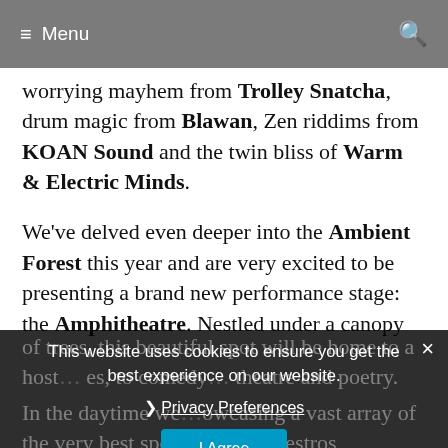≡ Menu
worrying mayhem from Trolley Snatcha, drum magic from Blawan, Zen riddims from KOAN Sound and the twin bliss of Warm & Electric Minds.
We've delved even deeper into the Ambient Forest this year and are very excited to be presenting a brand new performance stage: the Amphitheatre. Nestled under a canopy of trees, this beautiful spot will be home to a host of … to comedy … theatre and poetry.
In the daytime we … showcasing a vast array of the very best spoken word maestros
This website uses cookies to ensure you get the best experience on our website.
❯ Privacy Preferences
I Agree